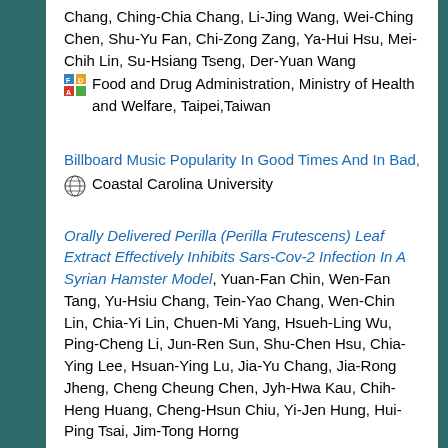Chang, Ching-Chia Chang, Li-Jing Wang, Wei-Ching Chen, Shu-Yu Fan, Chi-Zong Zang, Ya-Hui Hsu, Mei-Chih Lin, Su-Hsiang Tseng, Der-Yuan Wang
Food and Drug Administration, Ministry of Health and Welfare, Taipei,Taiwan
Billboard Music Popularity In Good Times And In Bad,
Coastal Carolina University
Orally Delivered Perilla (Perilla Frutescens) Leaf Extract Effectively Inhibits Sars-Cov-2 Infection In A Syrian Hamster Model, Yuan-Fan Chin, Wen-Fan Tang, Yu-Hsiu Chang, Tein-Yao Chang, Wen-Chin Lin, Chia-Yi Lin, Chuen-Mi Yang, Hsueh-Ling Wu, Ping-Cheng Li, Jun-Ren Sun, Shu-Chen Hsu, Chia-Ying Lee, Hsuan-Ying Lu, Jia-Yu Chang, Jia-Rong Jheng, Cheng Cheung Chen, Jyh-Hwa Kau, Chih-Heng Huang, Cheng-Hsun Chiu, Yi-Jen Hung, Hui-Ping Tsai, Jim-Tong Horng